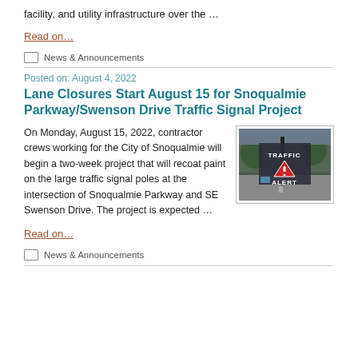facility, and utility infrastructure over the …
Read on…
News & Announcements
Posted on: August 4, 2022
Lane Closures Start August 15 for Snoqualmie Parkway/Swenson Drive Traffic Signal Project
On Monday, August 15, 2022, contractor crews working for the City of Snoqualmie will begin a two-week project that will recoat paint on the large traffic signal poles at the intersection of Snoqualmie Parkway and SE Swenson Drive. The project is expected …
[Figure (photo): Traffic Alert sign photo with red triangle warning symbol on a street with trees in background]
Read on…
News & Announcements